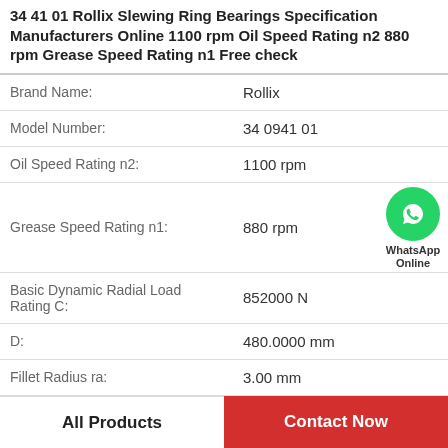34 41 01 Rollix Slewing Ring Bearings Specification Manufacturers Online 1100 rpm Oil Speed Rating n2 880 rpm Grease Speed Rating n1 Free check
| Property | Value |
| --- | --- |
| Brand Name: | Rollix |
| Model Number: | 34 0941 01 |
| Oil Speed Rating n2: | 1100 rpm |
| Grease Speed Rating n1: | 880 rpm |
| Basic Dynamic Radial Load Rating C: | 852000 N |
| D: | 480.0000 mm |
| Fillet Radius ra: | 3.00 mm |
| Fillet Radius rb: | 1.50 mm |
[Figure (logo): WhatsApp Online green circle phone icon with label WhatsApp Online]
All Products
Contact Now